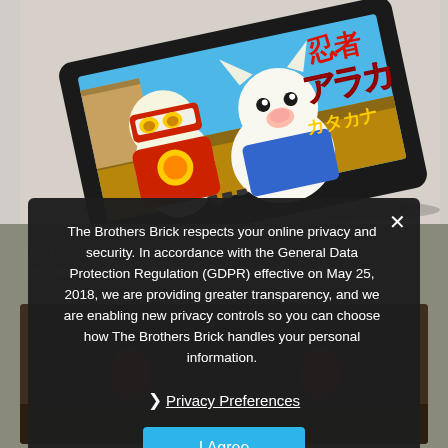[Figure (photo): A Japanese Famicom game cartridge (likely Ninja Dog / Ninja themed game) displayed at an angle on a light surface, showing colorful pixel art with a ninja character and a white dog, with Japanese text and red stylized lettering on the label.]
The Brothers Brick respects your online privacy and security. In accordance with the General Data Protection Regulation (GDPR) effective on May 25, 2018, we are providing greater transparency, and we are enabling new privacy controls so you can choose how The Brothers Brick handles your personal information.
Privacy Preferences
I Agree
[Figure (photo): Partially visible second photo at the bottom showing what appears to be another LEGO or toy figure in a dark toned image.]